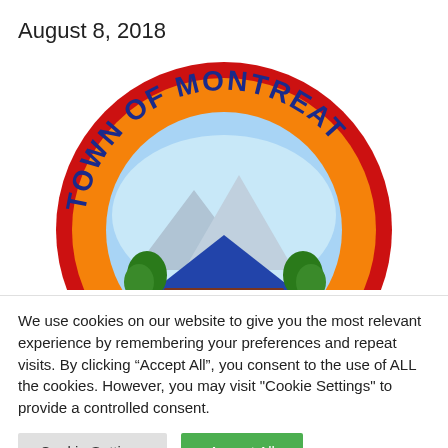August 8, 2018
[Figure (logo): Town of Montreat official seal — circular badge with red border, orange background, blue text reading TOWN OF MONTREAT, central illustration of a building with trees and mountains, text MONTREAT at base]
We use cookies on our website to give you the most relevant experience by remembering your preferences and repeat visits. By clicking “Accept All”, you consent to the use of ALL the cookies. However, you may visit "Cookie Settings" to provide a controlled consent.
Cookie Settings
Accept All